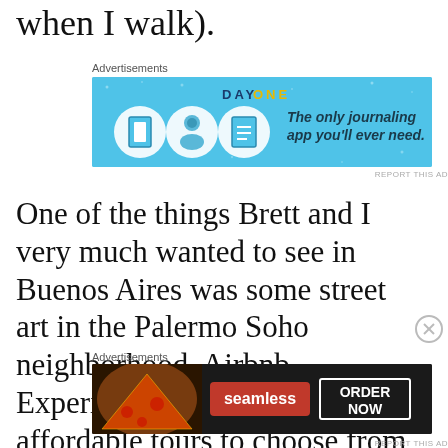when I walk).
[Figure (screenshot): Day One journaling app advertisement banner. Blue background with 'DAY ONE' text and icons, tagline: 'The only journaling app you'll ever need.']
One of the things Brett and I very much wanted to see in Buenos Aires was some street art in the Palermo Soho neighborhood. Airbnb Experiences had a few affordable tours to choose from so we selected one that fit our budget and off we
[Figure (screenshot): Seamless food delivery advertisement banner. Dark background with pizza image, red Seamless button, and 'ORDER NOW' white bordered box.]